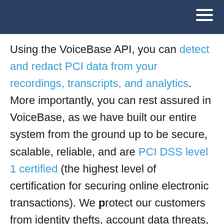Using the VoiceBase API, you can detect and redact PCI data from your recordings, transcripts, and analytics. More importantly, you can rest assured in VoiceBase, as we have built our entire system from the ground up to be secure, scalable, reliable, and are PCI DSS level 1 certified (the highest level of certification for securing online electronic transactions). We protect our customers from identity thefts, account data threats, and payment